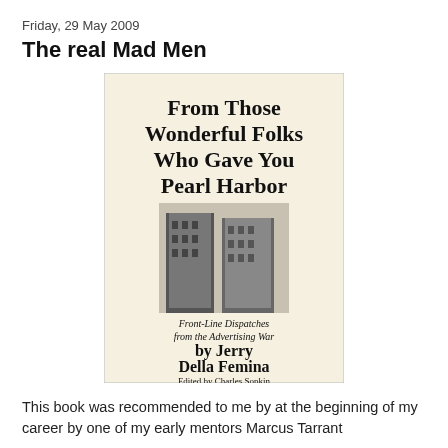Friday, 29 May 2009
The real Mad Men
[Figure (photo): Book cover of 'From Those Wonderful Folks Who Gave You Pearl Harbor: Front-Line Dispatches from the Advertising War by Jerry Della Femina, Edited by Charles Sopkin'. The cover shows bold serif text on a cream/off-white background with a black and white photograph of skyscrapers below the title.]
This book was recommended to me by at the beginning of my career by one of my early mentors Marcus Tarrant